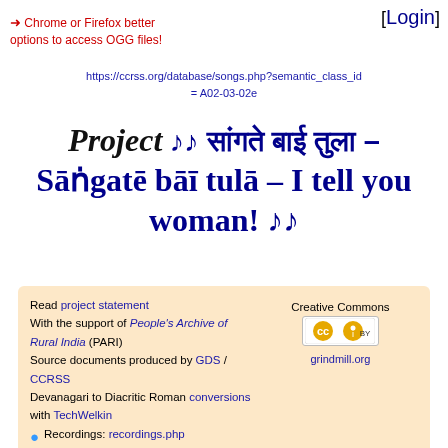[Login]
➜ Chrome or Firefox better options to access OGG files!
https://ccrss.org/database/songs.php?semantic_class_id = A02-03-02e
Project ♪♪ [Devanagari] – Sāṅgatē bāī tulā – I tell you woman! ♪♪
Read project statement
With the support of People's Archive of Rural India (PARI)
Source documents produced by GDS / CCRSS
Devanagari to Diacritic Roman conversions with TechWelkin
Recordings: recordings.php
Locations: villages.php
Classification: classification.php
Groups: groups.php
Glossary: glossary.php
Creative Commons
grindmill.org